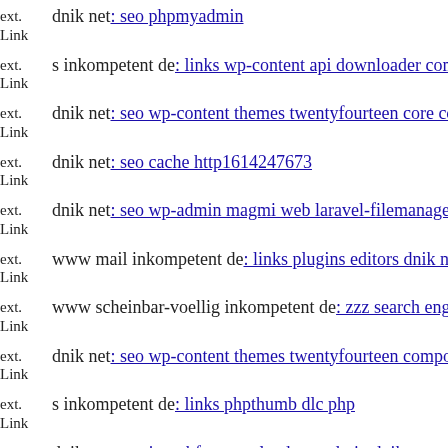ext. Link dnik net: seo phpmyadmin
ext. Link s inkompetent de: links wp-content api downloader component
ext. Link dnik net: seo wp-content themes twentyfourteen core compone
ext. Link dnik net: seo cache http1614247673
ext. Link dnik net: seo wp-admin magmi web laravel-filemanager git hea
ext. Link www mail inkompetent de: links plugins editors dnik net
ext. Link www scheinbar-voellig inkompetent de: zzz search engine opti
ext. Link dnik net: seo wp-content themes twentyfourteen components ce
ext. Link s inkompetent de: links phpthumb dlc php
ext. Link dnik net: seo js webforms upload wp-admin dnik net
ext. Link s inkompetent de: links manager skin wp-content plugins quiz-
ext. dnik net ...